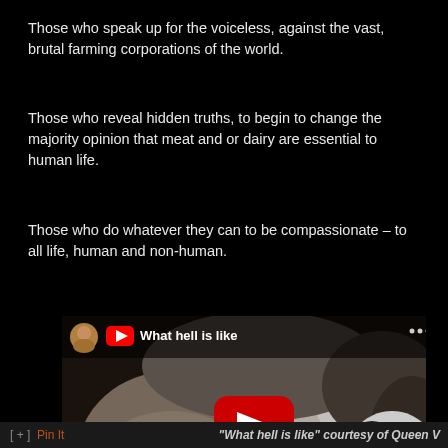Those who speak up for the voiceless, against the vast, brutal farming corporations of the world.
Those who reveal hidden truths, to begin to change the majority opinion that meat and or dairy are essential to human life.
Those who do whatever they can to be compassionate – to all life, human and non-human.
[Figure (screenshot): YouTube video thumbnail showing artwork of crowded farm animals (pigs, cows, rabbits) with title 'What hell is like' and a red YouTube play button in the center.]
[ + ]  Pin It     "What hell is like" courtesy of Queen V